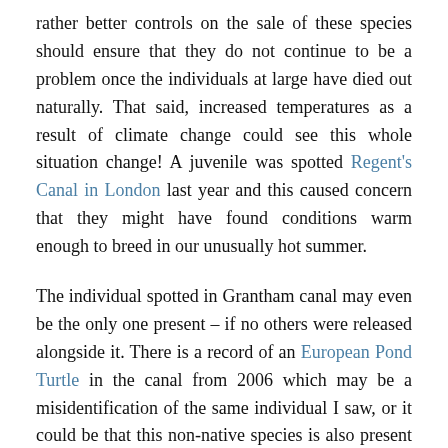rather better controls on the sale of these species should ensure that they do not continue to be a problem once the individuals at large have died out naturally. That said, increased temperatures as a result of climate change could see this whole situation change! A juvenile was spotted Regent's Canal in London last year and this caused concern that they might have found conditions warm enough to breed in our unusually hot summer.
The individual spotted in Grantham canal may even be the only one present – if no others were released alongside it. There is a record of an European Pond Turtle in the canal from 2006 which may be a misidentification of the same individual I saw, or it could be that this non-native species is also present along the waterway.
Next time you are walking along the canal, keep an eye